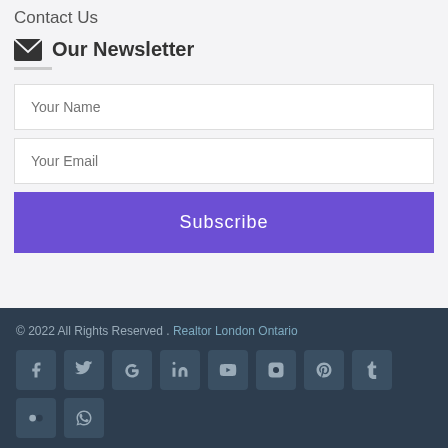Contact Us
Our Newsletter
Your Name
Your Email
Subscribe
© 2022 All Rights Reserved . Realtor London Ontario
[Figure (other): Social media icons row: Facebook, Twitter, Google+, LinkedIn, YouTube, Instagram, Pinterest, Tumblr, Flickr, WhatsApp]